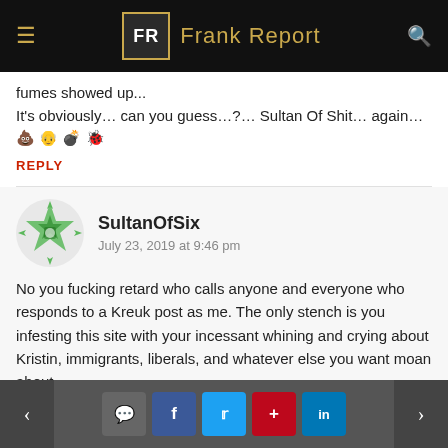Frank Report
fumes showed up...
It’s obviously… can you guess…?… Sultan Of Shit… again… 💩 👦 💣 🐞
REPLY
SultanOfSix
July 23, 2019 at 9:46 pm
No you fucking retard who calls anyone and everyone who responds to a Kreuk post as me. The only stench is you infesting this site with your incessant whining and crying about Kristin, immigrants, liberals, and whatever else you want moan about.